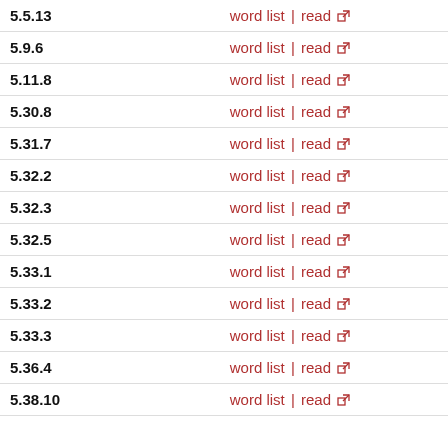| Section | Links | Count |
| --- | --- | --- |
| 5.5.13 | word list | read | 1 |
| 5.9.6 | word list | read | 1 |
| 5.11.8 | word list | read | 1 |
| 5.30.8 | word list | read | 1 |
| 5.31.7 | word list | read | 1 |
| 5.32.2 | word list | read | 1 |
| 5.32.3 | word list | read | 1 |
| 5.32.5 | word list | read | 1 |
| 5.33.1 | word list | read | 1 |
| 5.33.2 | word list | read | 1 |
| 5.33.3 | word list | read | 2 |
| 5.36.4 | word list | read | 1 |
| 5.38.10 | word list | read | 2 |